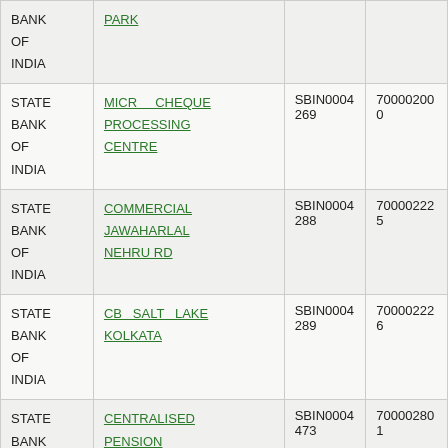| BANK | BRANCH | IFSC | MICR |
| --- | --- | --- | --- |
| STATE BANK OF INDIA | PARK |  |  |
| STATE BANK OF INDIA | MICR CHEQUE PROCESSING CENTRE | SBIN0004269 | 700002000 |
| STATE BANK OF INDIA | COMMERCIAL JAWAHARLAL NEHRU RD | SBIN0004288 | 700002225 |
| STATE BANK OF INDIA | CB SALT LAKE KOLKATA | SBIN0004289 | 700002226 |
| STATE BANK OF INDIA | CENTRALISED PENSION | SBIN0004473 | 700002801 |